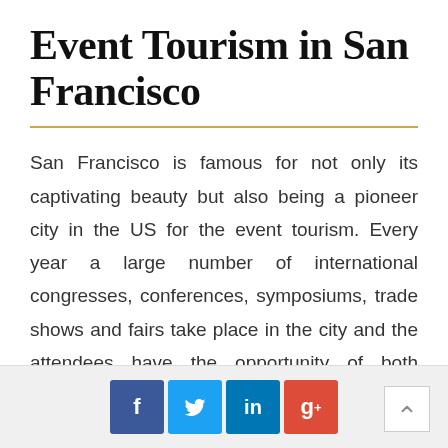Event Tourism in San Francisco
San Francisco is famous for not only its captivating beauty but also being a pioneer city in the US for the event tourism. Every year a large number of international congresses, conferences, symposiums, trade shows and fairs take place in the city and the attendees have the opportunity of both enjoying their event and experience the charm of San Francisco.
[Figure (infographic): Social media share buttons: Facebook (blue), Twitter (light blue), LinkedIn (dark blue), Google+ (red). Scroll-to-top arrow button at bottom right.]